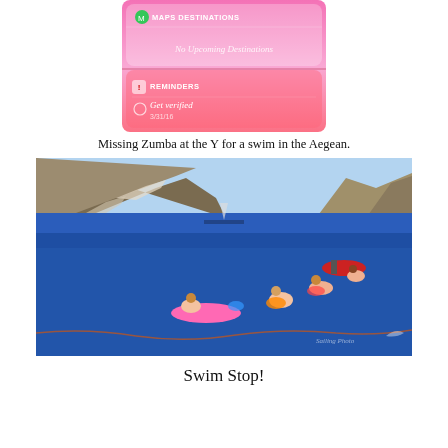[Figure (screenshot): iPhone screen showing Maps Destinations widget with 'No Upcoming Destinations' and Reminders widget with 'Get verified' reminder dated 3/31/16, pink gradient background]
Missing Zumba at the Y for a swim in the Aegean.
[Figure (photo): People swimming and floating on inflatable mats in the deep blue Aegean Sea, with dramatic rocky cliffs and a sailing boat in the background. Watermark visible in bottom right.]
Swim Stop!